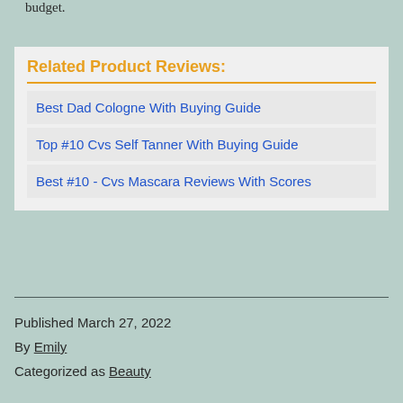budget.
Related Product Reviews:
Best Dad Cologne With Buying Guide
Top #10 Cvs Self Tanner With Buying Guide
Best #10 - Cvs Mascara Reviews With Scores
Published March 27, 2022
By Emily
Categorized as Beauty